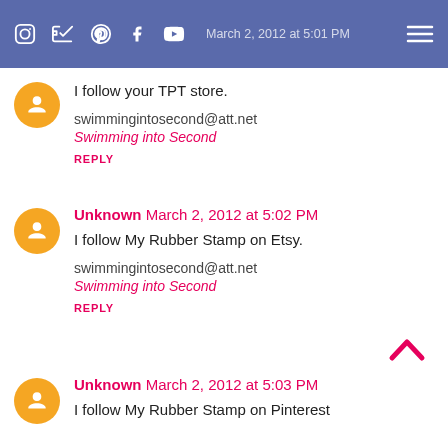March 2, 2012 at 5:01 PM
I follow your TPT store.
swimmingintosecond@att.net
Swimming into Second
REPLY
Unknown March 2, 2012 at 5:02 PM
I follow My Rubber Stamp on Etsy.
swimmingintosecond@att.net
Swimming into Second
REPLY
Unknown March 2, 2012 at 5:03 PM
I follow My Rubber Stamp on Pinterest